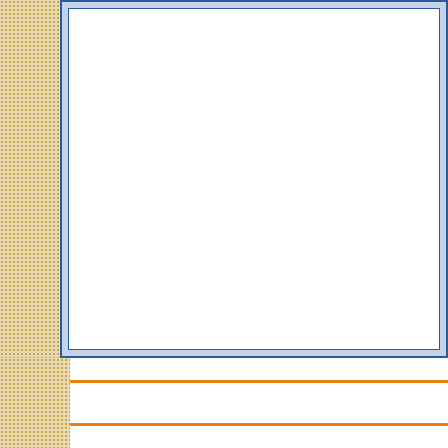| Category |
| --- |
| Low Income |
| High Needs |
| LEP English language learner |
| Students with disabilities |
| African American/Black |
| Asian |
| Hispanic or Latino |
| Multi-race, non-Hispanic or Lati... |
| Native Hawaiian or Pacific Islan... |
| White |